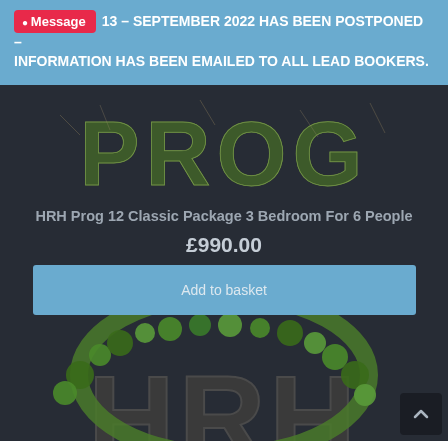Message  13 – SEPTEMBER 2022 HAS BEEN POSTPONED – INFORMATION HAS BEEN EMAILED TO ALL LEAD BOOKERS.
[Figure (illustration): PROG festival logo styled as mossy stone letters on dark background, top portion visible]
HRH Prog 12 Classic Package 3 Bedroom For 6 People
£990.00
Add to basket
[Figure (illustration): HRH Prog festival logo with letters made of mossy/ruined stone, covered in green vines and foliage, bottom portion]